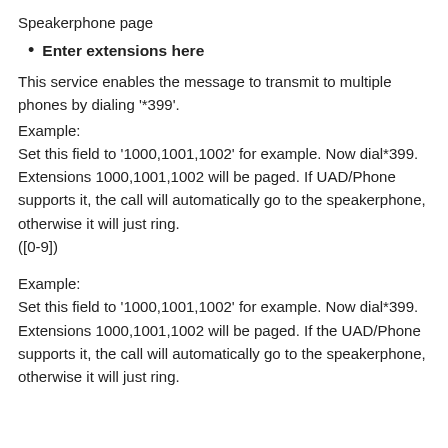Speakerphone page
Enter extensions here
This service enables the message to transmit to multiple phones by dialing '*399'.
Example:
Set this field to ‘1000,1001,1002’ for example. Now dial*399. Extensions 1000,1001,1002 will be paged. If UAD/Phone supports it, the call will automatically go to the speakerphone, otherwise it will just ring.
([0-9])
Example:
Set this field to ‘1000,1001,1002’ for example. Now dial*399. Extensions 1000,1001,1002 will be paged. If the UAD/Phone supports it, the call will automatically go to the speakerphone, otherwise it will just ring.